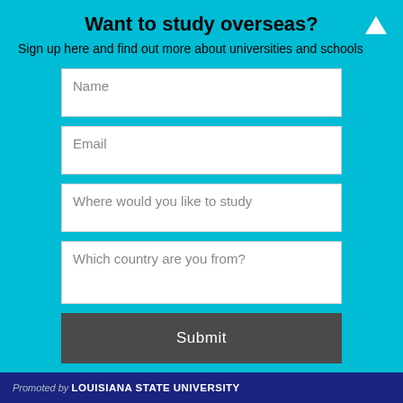Want to study overseas?
Sign up here and find out more about universities and schools
[Figure (infographic): A web form with four input fields (Name, Email, Where would you like to study, Which country are you from?) and a Submit button, on a teal/cyan background. An upward arrow icon is in the top-right corner.]
[Figure (photo): Photo of people in a workshop or educational setting. A woman wearing a hijab and safety glasses is in the foreground gesturing with her hand. Other people are visible in the background.]
Promoted by LOUISIANA STATE UNIVERSITY